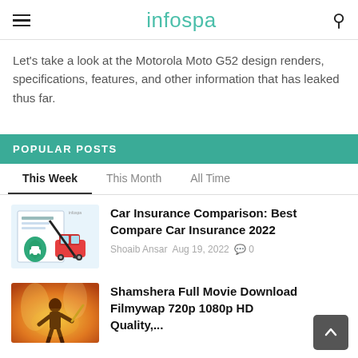infospa
Let's take a look at the Motorola Moto G52 design renders, specifications, features, and other information that has leaked thus far.
POPULAR POSTS
This Week | This Month | All Time
[Figure (illustration): Thumbnail image for Car Insurance Comparison article showing a car insurance document with a red car and a green shield]
Car Insurance Comparison: Best Compare Car Insurance 2022
Shoaib Ansar  Aug 19, 2022  0
[Figure (illustration): Thumbnail image for Shamshera Full Movie Download article showing a warrior figure with a golden/orange background]
Shamshera Full Movie Download Filmywap 720p 1080p HD Quality,...